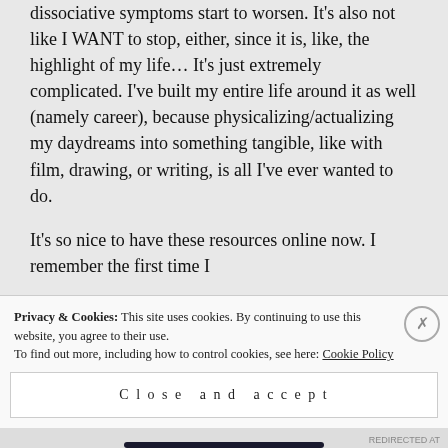dissociative symptoms start to worsen. It's also not like I WANT to stop, either, since it is, like, the highlight of my life… It's just extremely complicated. I've built my entire life around it as well (namely career), because physicalizing/actualizing my daydreams into something tangible, like with film, drawing, or writing, is all I've ever wanted to do.
It's so nice to have these resources online now. I remember the first time I
Privacy & Cookies: This site uses cookies. By continuing to use this website, you agree to their use.
To find out more, including how to control cookies, see here: Cookie Policy
Close and accept